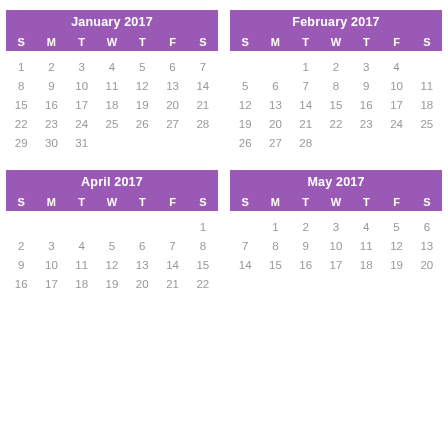| S | M | T | W | T | F | S |
| --- | --- | --- | --- | --- | --- | --- |
| 1 | 2 | 3 | 4 | 5 | 6 | 7 |
| 8 | 9 | 10 | 11 | 12 | 13 | 14 |
| 15 | 16 | 17 | 18 | 19 | 20 | 21 |
| 22 | 23 | 24 | 25 | 26 | 27 | 28 |
| 29 | 30 | 31 |  |  |  |  |
| S | M | T | W | T | F | S |
| --- | --- | --- | --- | --- | --- | --- |
|  |  | 1 | 2 | 3 | 4 |  |
| 5 | 6 | 7 | 8 | 9 | 10 | 11 |
| 12 | 13 | 14 | 15 | 16 | 17 | 18 |
| 19 | 20 | 21 | 22 | 23 | 24 | 25 |
| 26 | 27 | 28 |  |  |  |  |
| S | M | T | W | T | F | S |
| --- | --- | --- | --- | --- | --- | --- |
|  |  |  |  |  |  | 1 |
| 2 | 3 | 4 | 5 | 6 | 7 | 8 |
| 9 | 10 | 11 | 12 | 13 | 14 | 15 |
| 16 | 17 | 18 | 19 | 20 | 21 | 22 |
| S | M | T | W | T | F | S |
| --- | --- | --- | --- | --- | --- | --- |
|  | 1 | 2 | 3 | 4 | 5 | 6 |
| 7 | 8 | 9 | 10 | 11 | 12 | 13 |
| 14 | 15 | 16 | 17 | 18 | 19 | 20 |